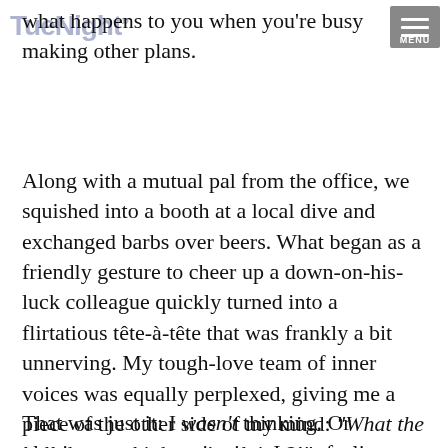TueNight MENU
what happens to you when you’re busy making other plans.
Along with a mutual pal from the office, we squished into a booth at a local dive and exchanged barbs over beers. What began as a friendly gesture to cheer up a down-on-his-luck colleague quickly turned into a flirtatious tête-à-tête that was frankly a bit unnerving. My tough-love team of inner voices was equally perplexed, giving me a piece of the other side of my mind: “What the hell do you think you’re doing?!”
That was just it: I wasn’t thinking. Or plotting, or prognosticating. I was feeling — my pulse